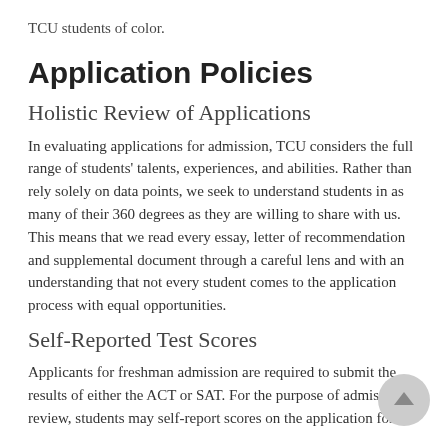TCU students of color.
Application Policies
Holistic Review of Applications
In evaluating applications for admission, TCU considers the full range of students' talents, experiences, and abilities. Rather than rely solely on data points, we seek to understand students in as many of their 360 degrees as they are willing to share with us. This means that we read every essay, letter of recommendation and supplemental document through a careful lens and with an understanding that not every student comes to the application process with equal opportunities.
Self-Reported Test Scores
Applicants for freshman admission are required to submit the results of either the ACT or SAT. For the purpose of admission review, students may self-report scores on the application for